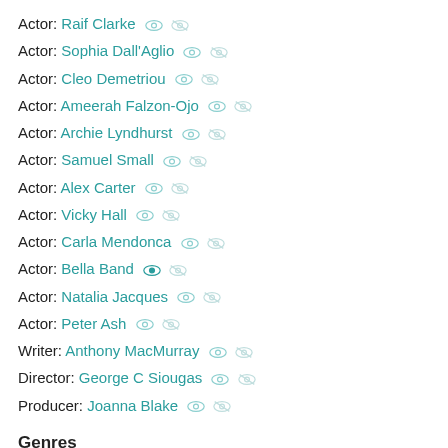Actor: Raif Clarke
Actor: Sophia Dall'Aglio
Actor: Cleo Demetriou
Actor: Ameerah Falzon-Ojo
Actor: Archie Lyndhurst
Actor: Samuel Small
Actor: Alex Carter
Actor: Vicky Hall
Actor: Carla Mendonca
Actor: Bella Band
Actor: Natalia Jacques
Actor: Peter Ash
Writer: Anthony MacMurray
Director: George C Siougas
Producer: Joanna Blake
Genres
Children's / Drama